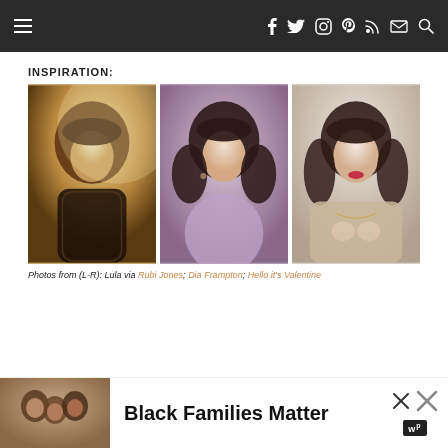Navigation bar with hamburger menu and social icons (f, twitter, instagram, pinterest, rss, email) and search
INSPIRATION:
[Figure (photo): Three photos side by side of women with short wavy bob haircuts with bangs. Left: artistic golden-toned photo. Center: woman in purple outfit against purple background. Right: woman in beige jacket holding necklace.]
Photos from (L-R): Lula via Rubi Jones; Dia Frampton; Hello it's Valentine
[Figure (infographic): Advertisement banner: Black Families Matter with photo of smiling family and close buttons]